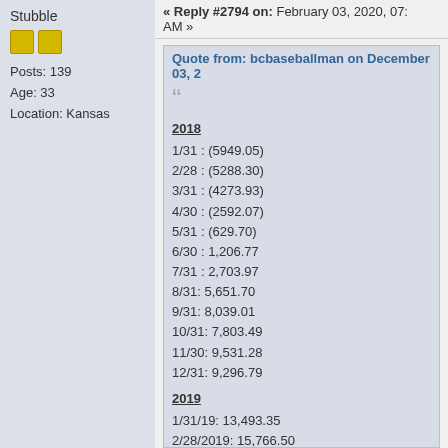Stubble
Posts: 139
Age: 33
Location: Kansas
« Reply #2794 on: February 03, 2020, 07: AM »
Quote from: bcbaseballman on December 03, 2...
2018
1/31 : (5949.05)
2/28 : (5288.30)
3/31 : (4273.93)
4/30 : (2592.07)
5/31 : (629.70)
6/30 : 1,206.77
7/31 : 2,703.97
8/31: 5,651.70
9/31: 8,039.01
10/31: 7,803.49
11/30: 9,531.28
12/31: 9,296.79

2019
1/31/19: 13,493.35
2/28/2019: 15,766.50
3/31/2019: 19,286
4/30/2019: 19,283
5/31/2019: 18,676
6/30/2019 :22,362
7/31/2019: 24,646
8/30/2019: $27,199
9/31/2019: $30,664
10/31/2019: $33,343
11/30/2019: $35,249